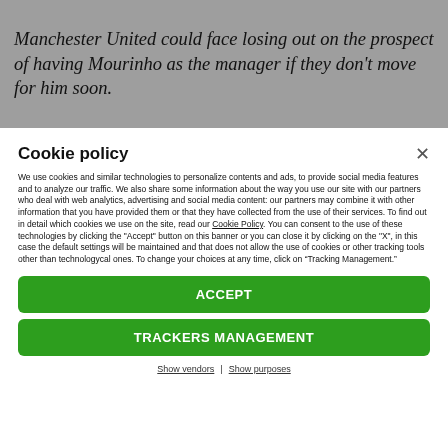Manchester United could face losing out on the prospect of having Mourinho as the manager if they don't move for him soon.
Cookie policy
We use cookies and similar technologies to personalize contents and ads, to provide social media features and to analyze our traffic. We also share some information about the way you use our site with our partners who deal with web analytics, advertising and social media content: our partners may combine it with other information that you have provided them or that they have collected from the use of their services. To find out in detail which cookies we use on the site, read our Cookie Policy. You can consent to the use of these technologies by clicking the "Accept" button on this banner or you can close it by clicking on the "X", in this case the default settings will be maintained and that does not allow the use of cookies or other tracking tools other than technologycal ones. To change your choices at any time, click on “Tracking Management.”
ACCEPT
TRACKERS MANAGEMENT
Show vendors | Show purposes